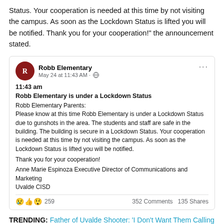Status. Your cooperation is needed at this time by not visiting the campus. As soon as the Lockdown Status is lifted you will be notified. Thank you for your cooperation!" the announcement stated.
[Figure (screenshot): Facebook post from Robb Elementary dated May 24 at 11:43 AM announcing lockdown status. Post reads: 11:43 am. Robb Elementary is under a Lockdown Status. Robb Elementary Parents: Please know at this time Robb Elementary is under a Lockdown Status due to gunshots in the area. The students and staff are safe in the building. The building is secure in a Lockdown Status. Your cooperation is needed at this time by not visiting the campus. As soon as the Lockdown Status is lifted you will be notified. Thank you for your cooperation! Anne Marie Espinoza Executive Director of Communications and Marketing Uvalde CISD. Reactions: 259. 352 Comments 135 Shares.]
TRENDING: Father of Uvalde Shooter: 'I Don't Want Them Calling Him a Monster... They Don't Know Nothing'